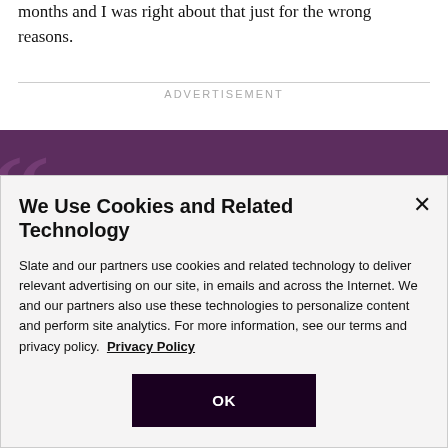months and I was right about that just for the wrong reasons.
ADVERTISEMENT
[Figure (other): Purple banner with large decorative quotation marks and bold white text: 'Slate Plus members provide the resources']
We Use Cookies and Related Technology
Slate and our partners use cookies and related technology to deliver relevant advertising on our site, in emails and across the Internet. We and our partners also use these technologies to personalize content and perform site analytics. For more information, see our terms and privacy policy.  Privacy Policy
OK